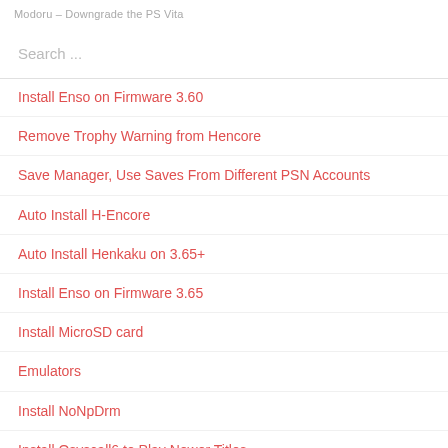Modoru – Downgrade the PS Vita
Search ...
Install Enso on Firmware 3.60
Remove Trophy Warning from Hencore
Save Manager, Use Saves From Different PSN Accounts
Auto Install H-Encore
Auto Install Henkaku on 3.65+
Install Enso on Firmware 3.65
Install MicroSD card
Emulators
Install NoNpDrm
Install Osyscall6 to Play Newer Titles
Download Titles on Vita: PKGJ